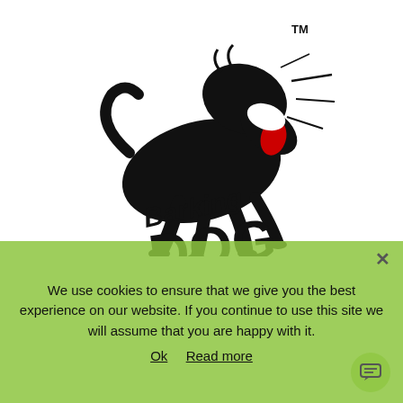[Figure (logo): Barking Dog logo: cartoon black dog barking with mouth open and red tongue, with motion lines, 'Barking Dog' text below in stylized lettering, TM mark in upper right]
We use cookies to ensure that we give you the best experience on our website. If you continue to use this site we will assume that you are happy with it.
Ok   Read more